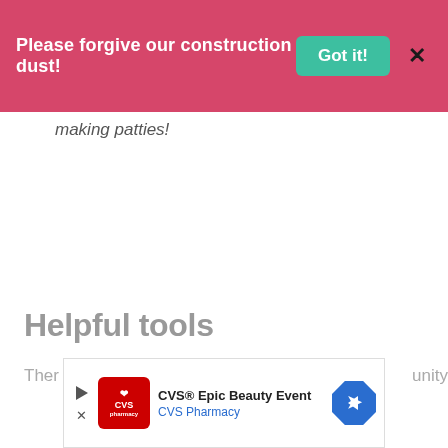Please forgive our construction dust! Got it! X
making patties!
Helpful tools
Ther...unity
[Figure (screenshot): CVS Pharmacy advertisement banner: CVS® Epic Beauty Event, CVS Pharmacy, with red CVS pharmacy logo and blue navigation arrow icon]